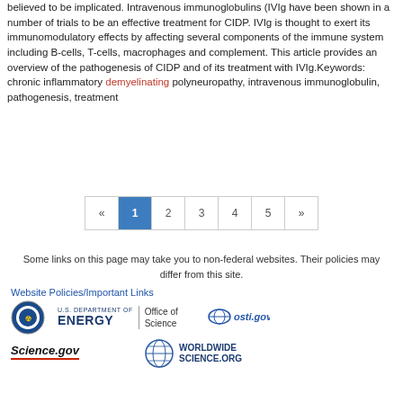believed to be implicated. Intravenous immunoglobulins (IVIg have been shown in a number of trials to be an effective treatment for CIDP. IVIg is thought to exert its immunomodulatory effects by affecting several components of the immune system including B-cells, T-cells, macrophages and complement. This article provides an overview of the pathogenesis of CIDP and of its treatment with IVIg.Keywords: chronic inflammatory demyelinating polyneuropathy, intravenous immunoglobulin, pathogenesis, treatment
[Figure (other): Pagination control showing pages «, 1 (active/highlighted), 2, 3, 4, 5, »]
Some links on this page may take you to non-federal websites. Their policies may differ from this site.
Website Policies/Important Links
[Figure (logo): U.S. Department of Energy logo with Office of Science text]
[Figure (logo): osti.gov logo]
[Figure (logo): Science.gov logo]
[Figure (logo): WorldWideScience.org logo]